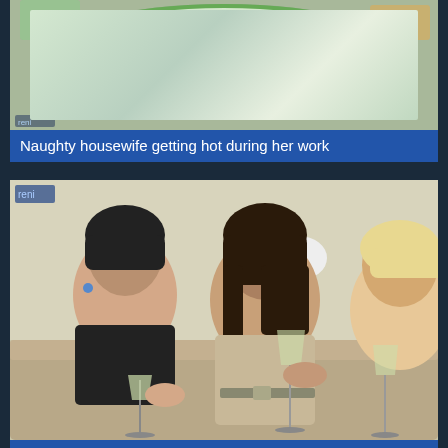[Figure (photo): Photo of a kitchen/dining room scene viewed from above, with a green table and place settings]
Naughty housewife getting hot during her work
[Figure (photo): Three women sitting on a couch holding champagne glasses, one in black, one in beige, one partially visible on right]
Three old and young lesbians make out on the
[Figure (photo): Partial view of a person's face/head at the bottom of the page]